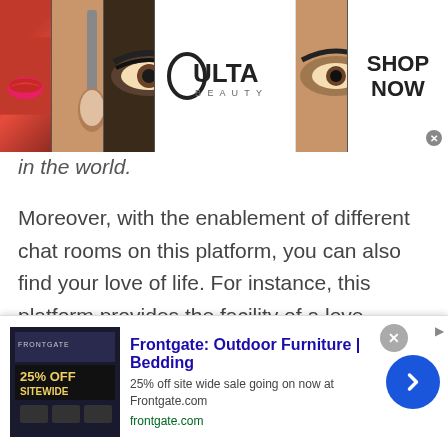[Figure (photo): Ulta Beauty advertisement banner showing makeup photos (lips, brush, eye), Ulta logo, and 'SHOP NOW' call to action]
in the world.
Moreover, with the enablement of different chat rooms on this platform, you can also find your love of life. For instance, this platform provides the facility of a love chatroom to its users. With this feature, you can connect with like minded people.
The love chatroom works like a dating platform. Where you can take the person, you like in a different chatroom. At first there are public
[Figure (photo): Frontgate: Outdoor Furniture | Bedding advertisement. 25% off site wide sale going on now at Frontgate.com. frontgate.com]